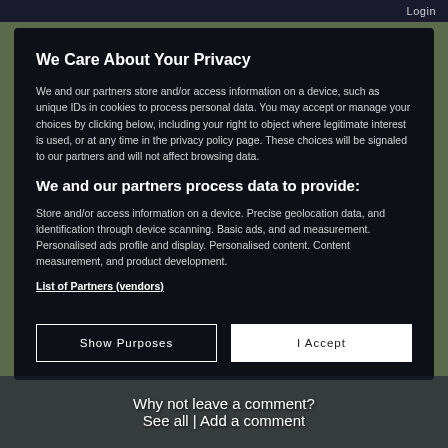Login
We Care About Your Privacy
We and our partners store and/or access information on a device, such as unique IDs in cookies to process personal data. You may accept or manage your choices by clicking below, including your right to object where legitimate interest is used, or at any time in the privacy policy page. These choices will be signaled to our partners and will not affect browsing data.
We and our partners process data to provide:
Store and/or access information on a device. Precise geolocation data, and identification through device scanning. Basic ads, and ad measurement. Personalised ads profile and display. Personalised content. Content measurement, and product development.
List of Partners (vendors)
Show Purposes
I Accept
Why not leave a comment?
See all | Add a comment